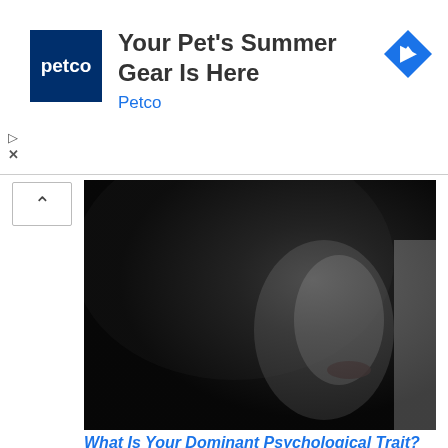[Figure (screenshot): Petco advertisement banner: Petco logo (white text on dark blue square), headline 'Your Pet's Summer Gear Is Here', subtext 'Petco' in blue, blue diamond navigation icon on right, play button and X controls on left side]
[Figure (photo): Dark moody close-up photo of a person's face in profile, mostly shadowed with dark hair, lips visible, another figure in grey hoodie partially visible on the right]
What Is Your Dominant Psychological Trait?
[Figure (photo): Dark moody photo of a hooded figure silhouetted in darkness against a warm orange/amber lit background, appears to be sitting on a floor]